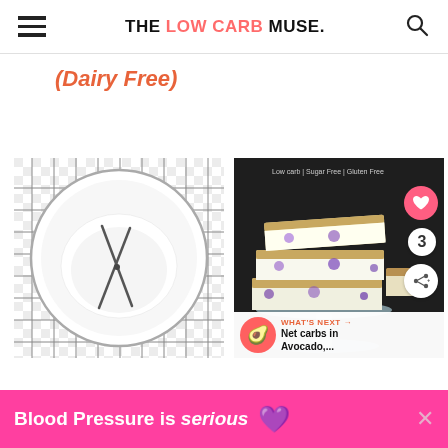THE LOW CARB MUSE.
(Dairy Free)
[Figure (photo): Top-down view of a white bowl with milk or cream and chopsticks, on a white checkered cloth, placed on a wire cooling rack]
[Figure (photo): Blueberry cheesecake bars stacked on a glass cake stand against a dark background, with social sharing UI overlays and a 'What's Next: Net carbs in Avocado,...' widget]
Blood Pressure is serious